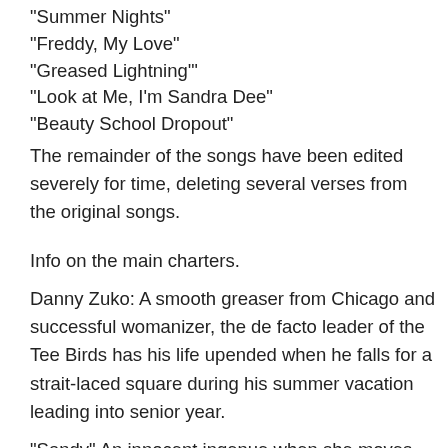"Summer Nights"
"Freddy, My Love"
"Greased Lightning"
"Look at Me, I'm Sandra Dee"
"Beauty School Dropout"
The remainder of the songs have been edited severely for time, deleting several verses from the original songs.
Info on the main charters.
Danny Zuko: A smooth greaser from Chicago and successful womanizer, the de facto leader of the Tee Birds has his life upended when he falls for a strait-laced square during his summer vacation leading into senior year.
"Sandy" An innocent ingenue when she moves into the